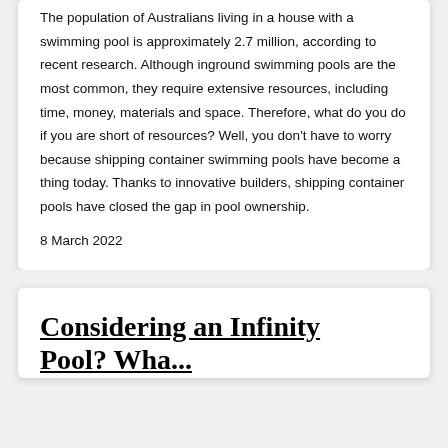The population of Australians living in a house with a swimming pool is approximately 2.7 million, according to recent research. Although inground swimming pools are the most common, they require extensive resources, including time, money, materials and space. Therefore, what do you do if you are short of resources? Well, you don't have to worry because shipping container swimming pools have become a thing today. Thanks to innovative builders, shipping container pools have closed the gap in pool ownership.
8 March 2022
Considering an Infinity Pool? Wha...